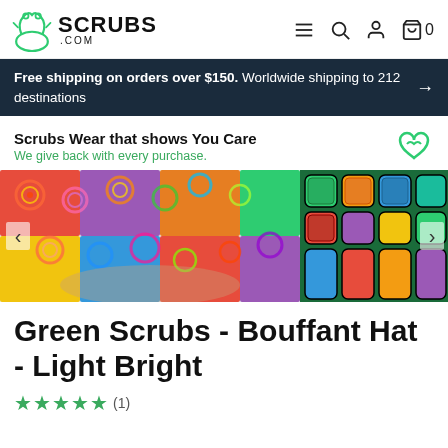[Figure (logo): Scrubs.com logo with frog icon]
Free shipping on orders over $150. Worldwide shipping to 212 destinations
Scrubs Wear that shows You Care
We give back with every purchase.
[Figure (photo): Colorful bouffant scrub hat in rainbow circular pattern, with fabric detail thumbnail on right]
Green Scrubs - Bouffant Hat - Light Bright
★★★★★ (1)